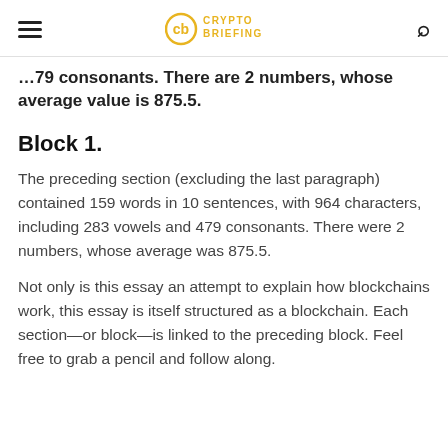Crypto Briefing
…79 consonants. There are 2 numbers, whose average value is 875.5.
Block 1.
The preceding section (excluding the last paragraph) contained 159 words in 10 sentences, with 964 characters, including 283 vowels and 479 consonants. There were 2 numbers, whose average was 875.5.
Not only is this essay an attempt to explain how blockchains work, this essay is itself structured as a blockchain. Each section—or block—is linked to the preceding block. Feel free to grab a pencil and follow along.